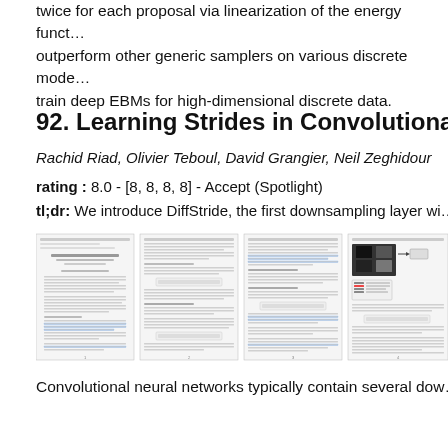twice for each proposal via linearization of the energy function to outperform other generic samplers on various discrete models and train deep EBMs for high-dimensional discrete data.
92. Learning Strides in Convolutional Ne…
Rachid Riad, Olivier Teboul, David Grangier, Neil Zeghidour
rating : 8.0 - [8, 8, 8, 8] - Accept (Spotlight)
tl;dr: We introduce DiffStride, the first downsampling layer wi…
[Figure (screenshot): Four pages of the paper 'Learning Strides in Convolutional Neural Networks' shown as small thumbnails side by side.]
Convolutional neural networks typically contain several dow…